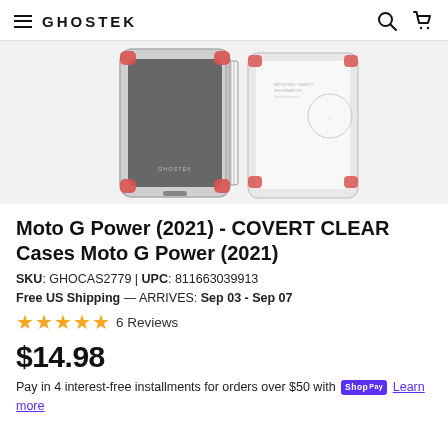GHOSTEK
[Figure (photo): Product photo showing two Ghostek Covert Clear phone cases for Moto G Power 2021, displayed back-to-back. Cases are transparent/clear with red corner bumpers and carbon fiber-style sides. The GHOSTEK logo is visible on the case.]
Moto G Power (2021) - COVERT CLEAR Cases Moto G Power (2021)
SKU: GHOCAS2779 | UPC: 811663039913
Free US Shipping — ARRIVES: Sep 03 - Sep 07
★★★★★ 6 Reviews
$14.98
Pay in 4 interest-free installments for orders over $50 with shop Pay Learn more